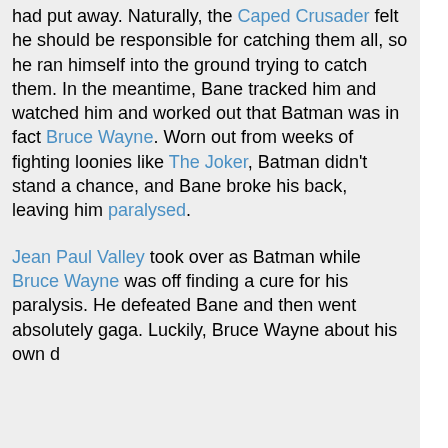had put away. Naturally, the Caped Crusader felt he should be responsible for catching them all, so he ran himself into the ground trying to catch them. In the meantime, Bane tracked him and watched him and worked out that Batman was in fact Bruce Wayne. Worn out from weeks of fighting loonies like The Joker, Batman didn't stand a chance, and Bane broke his back, leaving him paralysed.
Jean Paul Valley took over as Batman while Bruce Wayne was off finding a cure for his paralysis. He defeated Bane and then went absolutely gaga. Luckily, Bruce Wayne about his own d...